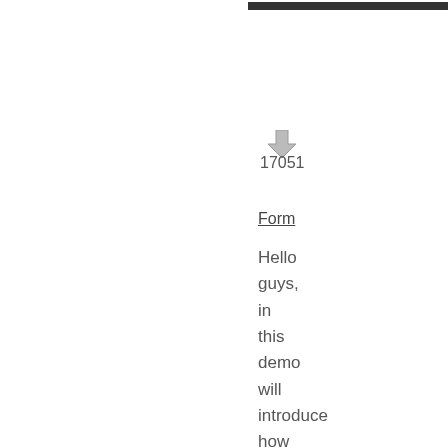[Figure (other): Download arrow icon with number 17051 below it]
Form
Hello guys, in this demo will introduce how to create a simple modal dialog window with jQuery